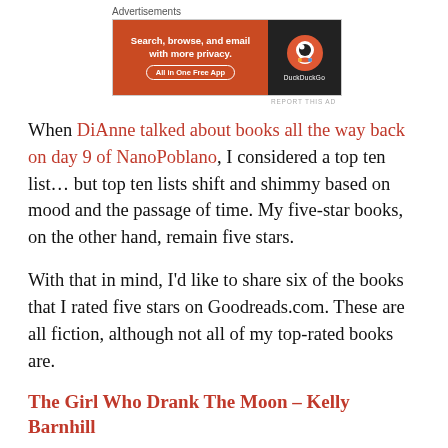[Figure (other): DuckDuckGo advertisement banner with orange left panel reading 'Search, browse, and email with more privacy. All in One Free App' and dark right panel with DuckDuckGo logo]
When DiAnne talked about books all the way back on day 9 of NanoPoblano, I considered a top ten list... but top ten lists shift and shimmy based on mood and the passage of time. My five-star books, on the other hand, remain five stars.
With that in mind, I'd like to share six of the books that I rated five stars on Goodreads.com. These are all fiction, although not all of my top-rated books are.
The Girl Who Drank The Moon – Kelly Barnhill